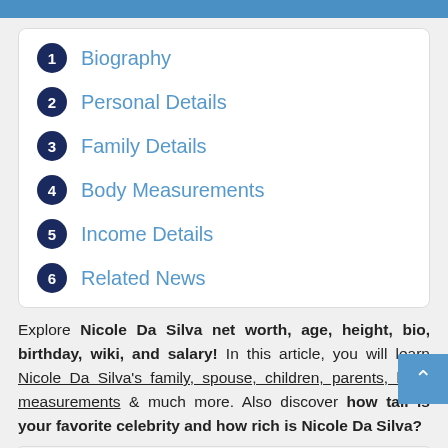1 Biography
2 Personal Details
3 Family Details
4 Body Measurements
5 Income Details
6 Related News
Explore Nicole Da Silva net worth, age, height, bio, birthday, wiki, and salary! In this article, you will learn Nicole Da Silva's family, spouse, children, parents, body measurements & much more. Also discover how tall is your favorite celebrity and how rich is Nicole Da Silva?
| Nicole Da Silva Profile |
| --- |